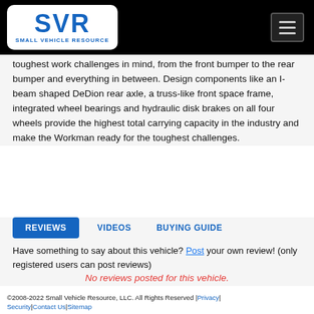SVR Small Vehicle Resource [logo] [hamburger menu]
toughest work challenges in mind, from the front bumper to the rear bumper and everything in between. Design components like an I-beam shaped DeDion rear axle, a truss-like front space frame, integrated wheel bearings and hydraulic disk brakes on all four wheels provide the highest total carrying capacity in the industry and make the Workman ready for the toughest challenges.
REVIEWS  VIDEOS  BUYING GUIDE
Have something to say about this vehicle? Post your own review! (only registered users can post reviews)
No reviews posted for this vehicle.
©2008-2022 Small Vehicle Resource, LLC. All Rights Reserved | Privacy | Security | Contact Us | Sitemap